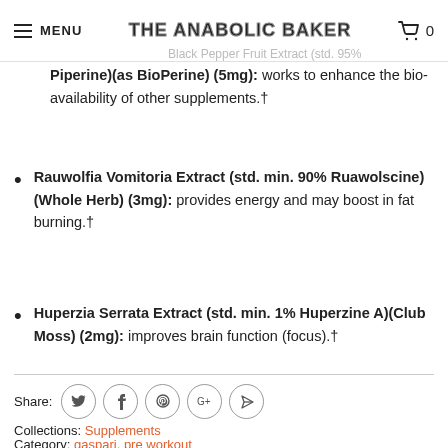MENU | THE ANABOLIC BAKER | 0
Black Pepper Fruit Extract (std. 95% Piperine)(as BioPerine) (5mg): works to enhance the bio-availability of other supplements.†
Rauwolfia Vomitoria Extract (std. min. 90% Ruawolscine)(Whole Herb) (3mg): provides energy and may boost in fat burning.†
Huperzia Serrata Extract (std. min. 1% Huperzine A)(Club Moss) (2mg): improves brain function (focus).†
Share:
Collections: Supplements
Category: gaspari, pre workout